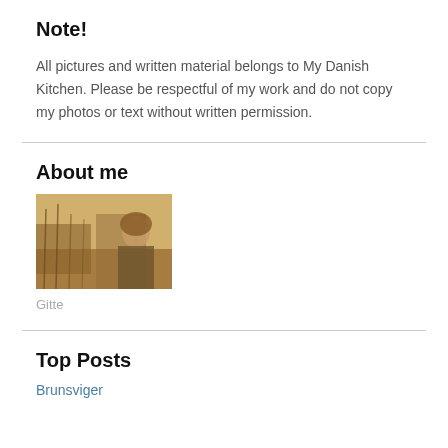Note!
All pictures and written material belongs to My Danish Kitchen. Please be respectful of my work and do not copy my photos or text without written permission.
About me
[Figure (photo): A woman standing outdoors near water and reeds, photographed in a warm sepia/golden tone.]
Gitte
Top Posts
Brunsviger